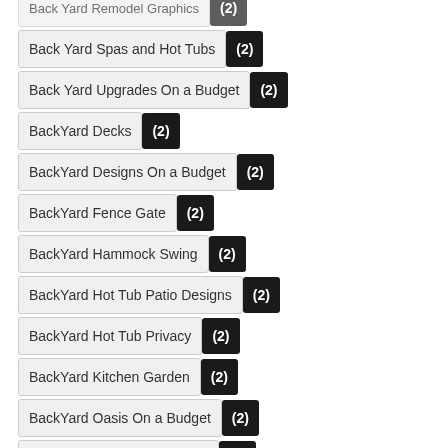Back Yard Spas and Hot Tubs (2)
Back Yard Upgrades On a Budget (2)
BackYard Decks (2)
BackYard Designs On a Budget (2)
BackYard Fence Gate (2)
BackYard Hammock Swing (2)
BackYard Hot Tub Patio Designs (2)
BackYard Hot Tub Privacy (2)
BackYard Kitchen Garden (2)
BackYard Oasis On a Budget (2)
BackYard Patio Landscaping (2)
BackYard Patio Shade (2)